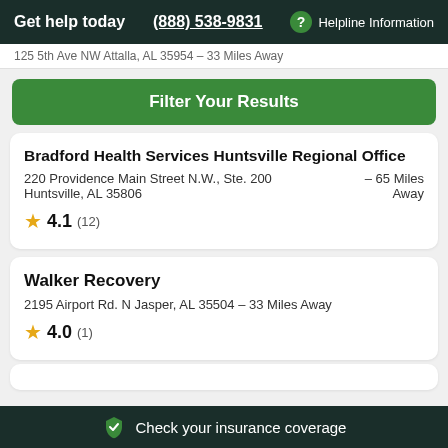Get help today (888) 538-9831 Helpline Information
125 5th Ave NW Attalla, AL 35954 - 33 Miles Away
Filter Your Results
Bradford Health Services Huntsville Regional Office
220 Providence Main Street N.W., Ste. 200 Huntsville, AL 35806 - 65 Miles Away
4.1 (12)
Walker Recovery
2195 Airport Rd. N Jasper, AL 35504 - 33 Miles Away
4.0 (1)
Check your insurance coverage